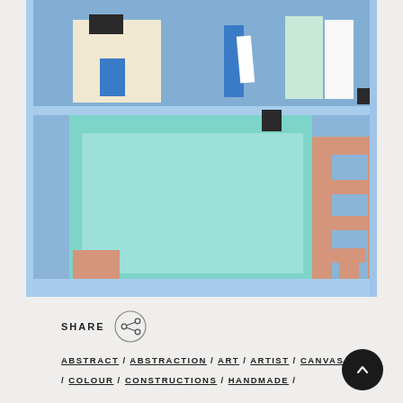[Figure (photo): A light blue bookshelf/cabinet with geometric objects arranged on two shelves. Top shelf contains cream and black rectangular panels, a blue tall rectangle, a mint/white panel, a white rectangle, and a small dark object. Bottom shelf features mint/teal large rectangular panels leaning against the back wall, a salmon/pink geometric frame structure that resembles a ladder or letter T, and a small salmon/pink cube in the lower left corner.]
SHARE
ABSTRACT / ABSTRACTION / ART / ARTIST / CANVAS / COLOUR / CONSTRUCTIONS / HANDMADE /